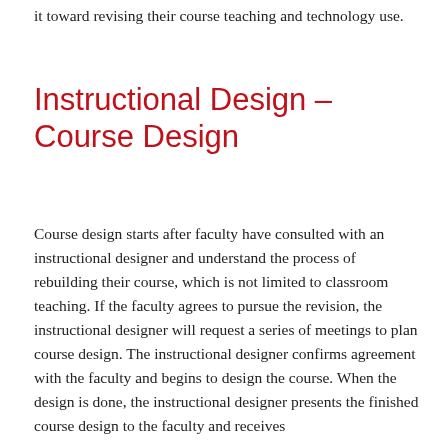it toward revising their course teaching and technology use.
Instructional Design – Course Design
Course design starts after faculty have consulted with an instructional designer and understand the process of rebuilding their course, which is not limited to classroom teaching. If the faculty agrees to pursue the revision, the instructional designer will request a series of meetings to plan course design. The instructional designer confirms agreement with the faculty and begins to design the course. When the design is done, the instructional designer presents the finished course design to the faculty and receives